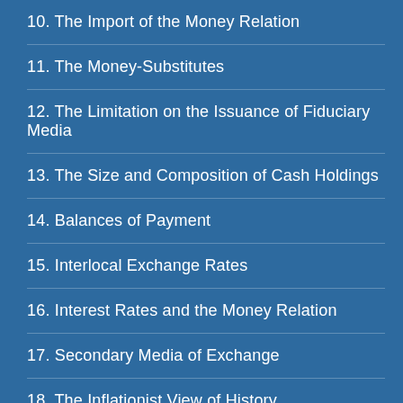10. The Import of the Money Relation
11. The Money-Substitutes
12. The Limitation on the Issuance of Fiduciary Media
13. The Size and Composition of Cash Holdings
14. Balances of Payment
15. Interlocal Exchange Rates
16. Interest Rates and the Money Relation
17. Secondary Media of Exchange
18. The Inflationist View of History
19. The Gold Standard